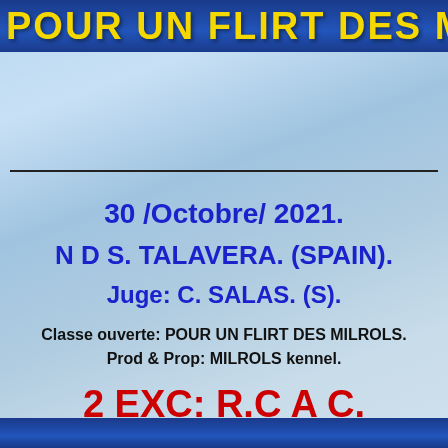POUR UN FLIRT DES M…
30 /Octobre/ 2021.
N D S. TALAVERA. (SPAIN).
Juge: C. SALAS. (S).
Classe ouverte: POUR UN FLIRT DES MILROLS.
Prod & Prop: MILROLS kennel.
2 EXC: R.C A C.